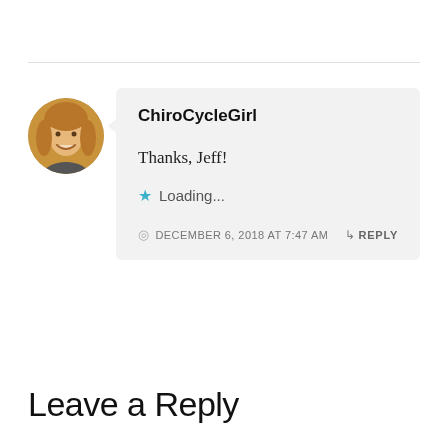[Figure (photo): Circular avatar photo of a smiling woman with long blonde hair]
ChiroCycleGirl
Thanks, Jeff!
★ Loading...
DECEMBER 6, 2018 AT 7:47 AM
↳ REPLY
Leave a Reply